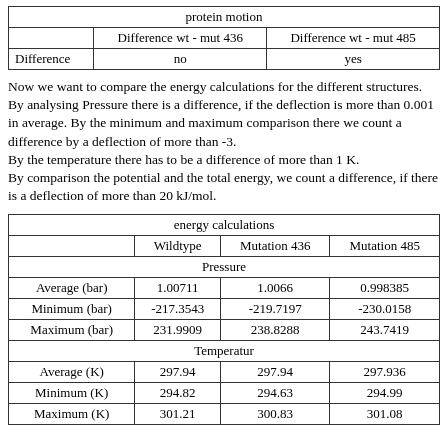|  | Difference wt - mut 436 | Difference wt - mut 485 |
| --- | --- | --- |
| Difference | no | yes |
Now we want to compare the energy calculations for the different structures. By analysing Pressure there is a difference, if the deflection is more than 0.001 in average. By the minimum and maximum comparison there we count a difference by a deflection of more than -3.
By the temperature there has to be a difference of more than 1 K.
By comparison the potential and the total energy, we count a difference, if there is a deflection of more than 20 kJ/mol.
| energy calculations |  |  |  |
| --- | --- | --- | --- |
|  | Wildtype | Mutation 436 | Mutation 485 |
| Pressure |  |  |  |
| Average (bar) | 1.00711 | 1.0066 | 0.998385 |
| Minimum (bar) | -217.3543 | -219.7197 | -230.0158 |
| Maximum (bar) | 231.9909 | 238.8288 | 243.7419 |
| Temperatur |  |  |  |
| Average (K) | 297.94 | 297.94 | 297.936 |
| Minimum (K) | 294.82 | 294.63 | 294.99 |
| Maximum (K) | 301.21 | 300.83 | 301.08 |